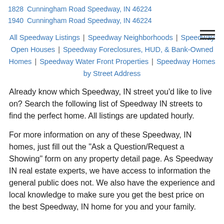1828   Cunningham Road Speedway, IN 46224
1940   Cunningham Road Speedway, IN 46224
All Speedway Listings | Speedway Neighborhoods | Speedway Open Houses | Speedway Foreclosures, HUD, & Bank-Owned Homes | Speedway Water Front Properties | Speedway Homes by Street Address
Already know which Speedway, IN street you'd like to live on? Search the following list of Speedway IN streets to find the perfect home. All listings are updated hourly.
For more information on any of these Speedway, IN homes, just fill out the "Ask a Question/Request a Showing" form on any property detail page. As Speedway IN real estate experts, we have access to information the general public does not. We also have the experience and local knowledge to make sure you get the best price on the best Speedway, IN home for you and your family.